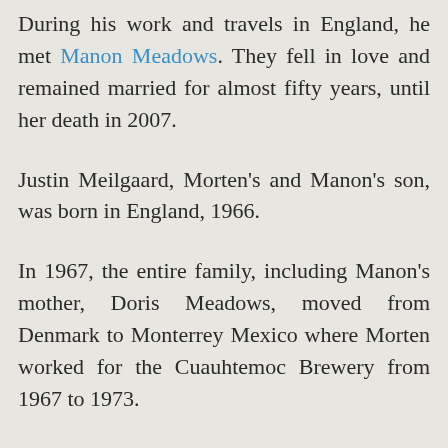During his work and travels in England, he met Manon Meadows. They fell in love and remained married for almost fifty years, until her death in 2007.
Justin Meilgaard, Morten's and Manon's son, was born in England, 1966.
In 1967, the entire family, including Manon's mother, Doris Meadows, moved from Denmark to Monterrey Mexico where Morten worked for the Cuauhtemoc Brewery from 1967 to 1973.
In 1973, Morten was hired by Peter Stroh of the Stroh Brewery, Detroit, where he worked as Peter's right-hand man until the brewery was acquired by the Miller Brewing Company in 1999, at which point Morten retired.
Even after retirement, he continued to be active